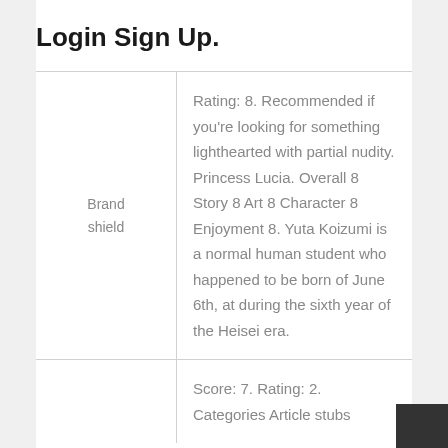Login Sign Up.
| Brand shield | Rating: 8. Recommended if you're looking for something lighthearted with partial nudity. Princess Lucia. Overall 8 Story 8 Art 8 Character 8 Enjoyment 8. Yuta Koizumi is a normal human student who happened to be born of June 6th, at during the sixth year of the Heisei era. |
|  | Score: 7. Rating: 2. Categories Article stubs |